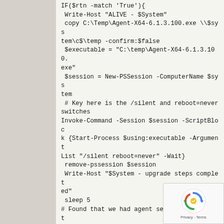IF($rtn -match 'True'){
 Write-Host "ALIVE - $System"
 copy C:\Temp\Agent-X64-6.1.3.100.exe \\$system\c$\temp -confirm:$false
 $executable = "C:\temp\Agent-X64-6.1.3.100.exe"
 $session = New-PSSession -ComputerName $system
 # Key here is the /silent and reboot=never switches
Invoke-Command -Session $session -ScriptBlock {Start-Process $using:executable -ArgumentList "/silent reboot=never" -Wait}
 remove-pssession $session
 Write-Host "$System - upgrade steps completed"
 sleep 5
# Found that we had agent services not starting following the upgrade
 get-service -name "RapidRecoveryAgent" -computername $system | Start-Service
 }

else
 {
[Figure (logo): reCAPTCHA badge with spinning arrow logo and Privacy - Terms text]